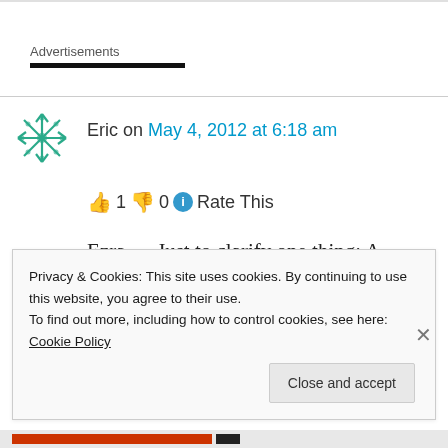Advertisements
Eric on May 4, 2012 at 6:18 am
👍 1 👎 0 ℹ Rate This
Ezra — Just to clarify one thing: A temple wedding need not be costly. In fact, the bride and groom are free to go to the temple in the
Privacy & Cookies: This site uses cookies. By continuing to use this website, you agree to their use.
To find out more, including how to control cookies, see here: Cookie Policy
Close and accept